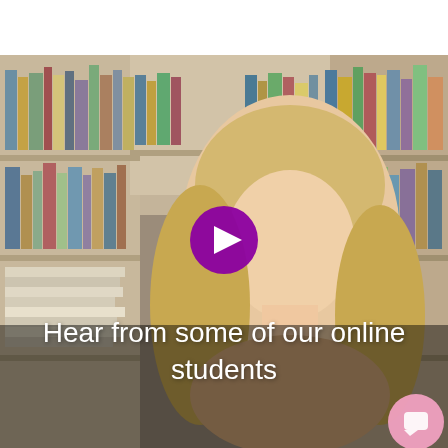[Figure (photo): Video thumbnail screenshot showing a young blonde woman smiling, sitting in front of a bookshelf filled with books. A purple play button circle is centered in the upper portion of the image. White text overlay reads 'Hear from some of our online students'. A pink chat/message button icon is in the bottom right corner.]